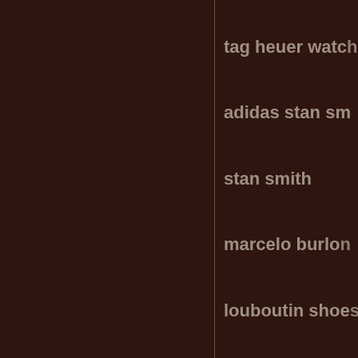tag heuer watch
adidas stan sm
stan smith
marcelo burlon
louboutin shoes